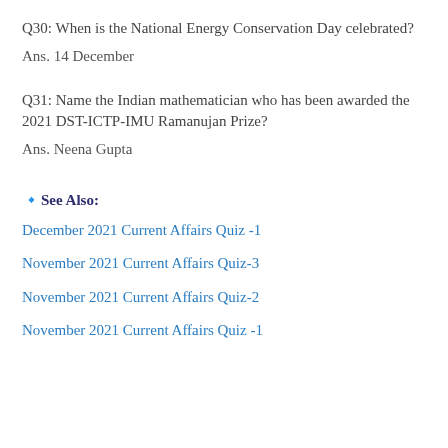Q30: When is the National Energy Conservation Day celebrated?
Ans. 14 December
Q31: Name the Indian mathematician who has been awarded the 2021 DST-ICTP-IMU Ramanujan Prize?
Ans. Neena Gupta
🔹See Also:
December 2021 Current Affairs Quiz -1
November 2021 Current Affairs Quiz-3
November 2021 Current Affairs Quiz-2
November 2021 Current Affairs Quiz -1